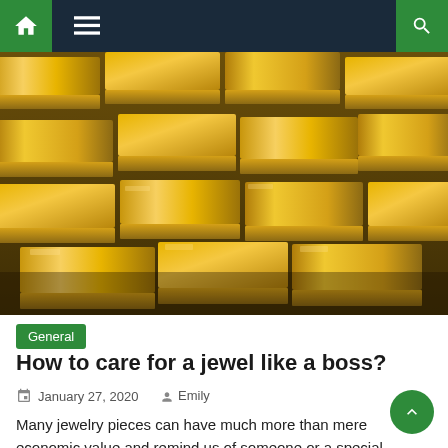Navigation bar with home, menu, and search icons
[Figure (photo): Stack of gold bars/bullion photographed from above at an angle, showing shiny golden rectangular ingots piled in rows]
General
How to care for a jewel like a boss?
January 27, 2020   Emily
Many jewelry pieces can have much more than mere economic value and remind us of someone or a special moment in our lives.That is why this jewel is unique to us and its loss would cause us inconsolable sadness. In the article I present a series of tips and tricks, many of which you can [...]